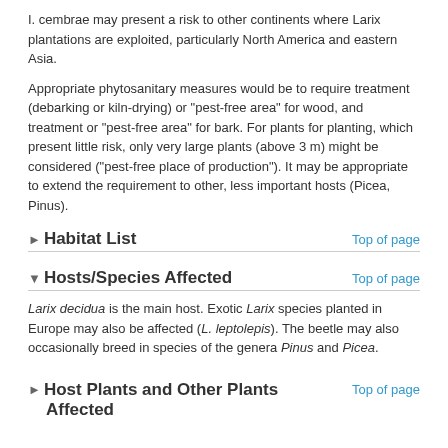I. cembrae may present a risk to other continents where Larix plantations are exploited, particularly North America and eastern Asia.
Appropriate phytosanitary measures would be to require treatment (debarking or kiln-drying) or "pest-free area" for wood, and treatment or "pest-free area" for bark. For plants for planting, which present little risk, only very large plants (above 3 m) might be considered ("pest-free place of production"). It may be appropriate to extend the requirement to other, less important hosts (Picea, Pinus).
Habitat List
Hosts/Species Affected
Larix decidua is the main host. Exotic Larix species planted in Europe may also be affected (L. leptolepis). The beetle may also occasionally breed in species of the genera Pinus and Picea.
Host Plants and Other Plants Affected